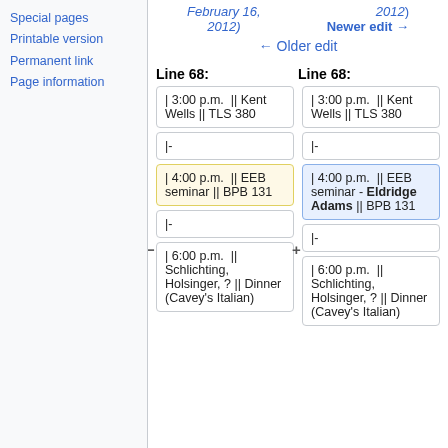Special pages
Printable version
Permanent link
Page information
February 16, 2012)
2012)
Newer edit →
← Older edit
Line 68:
Line 68:
| 3:00 p.m.  || Kent Wells || TLS 380
| 3:00 p.m.  || Kent Wells || TLS 380
|-
|-
| 4:00 p.m.  || EEB seminar || BPB 131
| 4:00 p.m.  || EEB seminar - Eldridge Adams || BPB 131
|-
|-
| 6:00 p.m.  || Schlichting, Holsinger, ? || Dinner (Cavey's Italian)
| 6:00 p.m.  || Schlichting, Holsinger, ? || Dinner (Cavey's Italian)